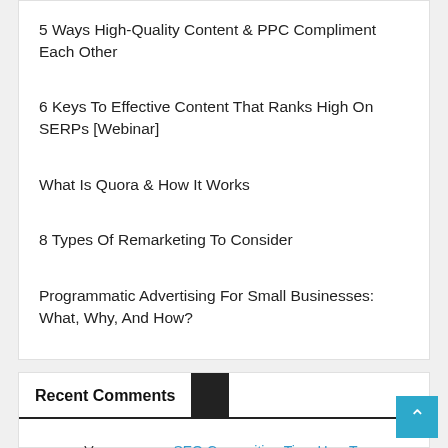5 Ways High-Quality Content & PPC Compliment Each Other
6 Keys To Effective Content That Ranks High On SERPs [Webinar]
What Is Quora & How It Works
8 Types Of Remarketing To Consider
Programmatic Advertising For Small Businesses: What, Why, And How?
Recent Comments
Vancouver on SEO Copywriting Tips: How To